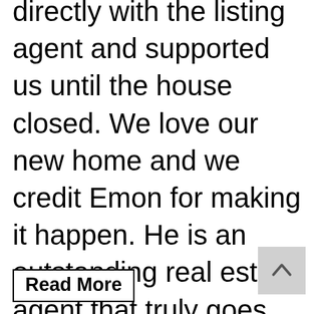directly with the listing agent and supported us until the house closed. We love our new home and we credit Emon for making it happen. He is an outstanding real estate agent that truly goes the "extra-mile". We highly recommend him as the most superior agent without any reservations. Thank you Emon...you are the best!
Read More